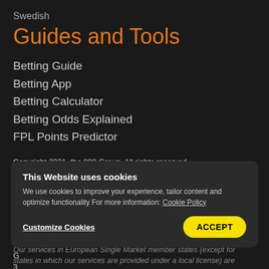Swedish
Guides and Tools
Betting Guide
Betting App
Betting Calculator
Betting Odds Explained
FPL Points Predictor
Copyright 2021, the 888 Group. All rights reserved.
888 Holdings plc is listed on the London Stock Exchange.
Virtual Global Digital Services Limited is licensed and regulated to offer online gaming services under the laws of Gibraltar (Remote G...s to... O... in... G... 3...
This Website uses cookies
We use cookies to improve your experience, tailor content and optimize functionality For more information: Cookie Policy
Customize Cookies    ACCEPT
Our services in European Single Market member states (except for states in which our services are provided under a local license) are